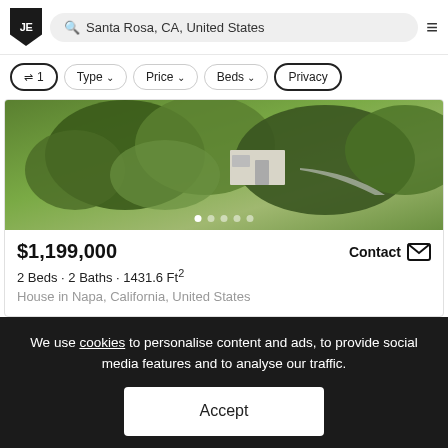JE — Santa Rosa, CA, United States
⇌ 1 | Type | Price | Beds | Privacy
[Figure (photo): Aerial photo of a property with a white house surrounded by dense green trees and vegetation. Image carousel with 5 dots shown at bottom.]
$1,199,000
Contact
2 Beds · 2 Baths · 1431.6 Ft²
House in Napa, California, United States
We use cookies to personalise content and ads, to provide social media features and to analyse our traffic.
Accept